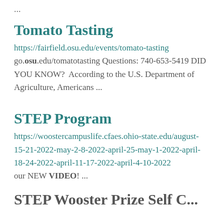...
Tomato Tasting
https://fairfield.osu.edu/events/tomato-tasting go.osu.edu/tomatotasting Questions: 740-653-5419 DID YOU KNOW?  According to the U.S. Department of Agriculture, Americans ...
STEP Program
https://woostercampuslife.cfaes.ohio-state.edu/august-15-21-2022-may-2-8-2022-april-25-may-1-2022-april-18-24-2022-april-11-17-2022-april-4-10-2022
our NEW VIDEO! ...
STEP Wooster Prize Self C...